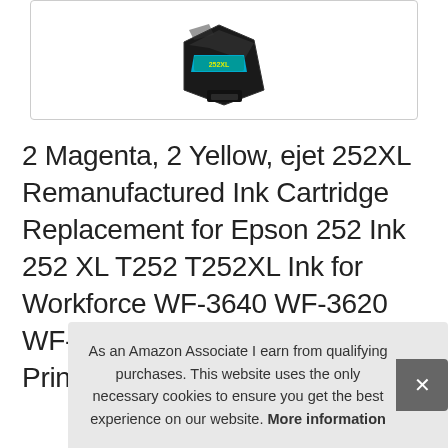[Figure (photo): Epson 252XL remanufactured ink cartridge product image shown in a white bordered box, dark cartridge with teal/blue accents and yellow label text]
2 Magenta, 2 Yellow, ejet 252XL Remanufactured Ink Cartridge Replacement for Epson 252 Ink 252 XL T252 T252XL Ink for Workforce WF-3640 WF-3620 WF-7210 WF-7710 WF-7720 Printer 2 Cyan, 6-Pack
#ad
As an Amazon Associate I earn from qualifying purchases. This website uses the only necessary cookies to ensure you get the best experience on our website. More information